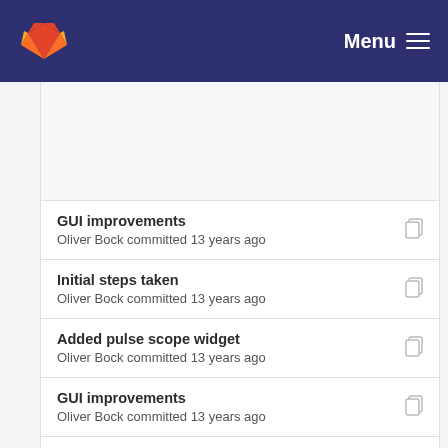GitLab — Menu
GUI improvements
Oliver Bock committed 13 years ago
Initial steps taken
Oliver Bock committed 13 years ago
Added pulse scope widget
Oliver Bock committed 13 years ago
GUI improvements
Oliver Bock committed 13 years ago